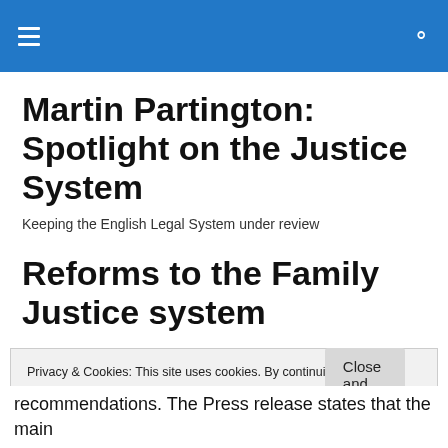Martin Partington: Spotlight on the Justice System
Martin Partington: Spotlight on the Justice System
Keeping the English Legal System under review
Reforms to the Family Justice system
Privacy & Cookies: This site uses cookies. By continuing to use this website, you agree to their use.
To find out more, including how to control cookies, see here: Cookie Policy
Close and accept
recommendations. The Press release states that the main